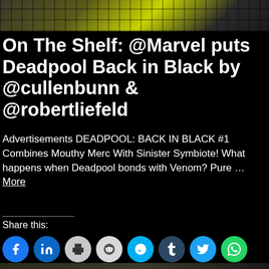[Figure (photo): Top banner with comic book / circuit board background imagery in green/yellow/dark tones]
On The Shelf: @Marvel puts Deadpool Back in Black by @cullenbunn & @robertliefeld
Advertisements DEADPOOL: BACK IN BLACK #1 Combines Mouthy Merc With Sinister Symbiote! What happens when Deadpool bonds with Venom? Pure … More
Share this:
[Figure (infographic): Row of social share buttons: Facebook, LinkedIn, Print, Reddit, Skype, Tumblr, Twitter, WhatsApp]
#On The Shelf